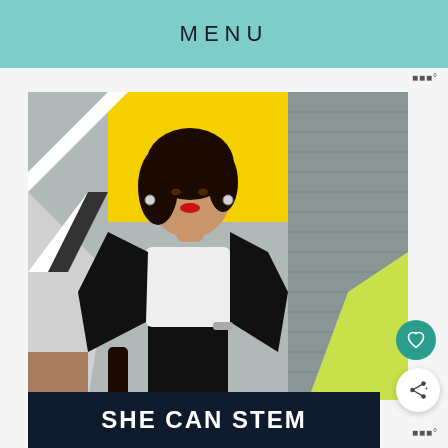MENU
[Figure (photo): Woman with dark hair, wearing a black blazer over a white shirt, standing in front of a colorful painted mural wall with geometric shapes in yellow, blue, gray, green and white. She has red lipstick and hoop earrings.]
SHE CAN STEM